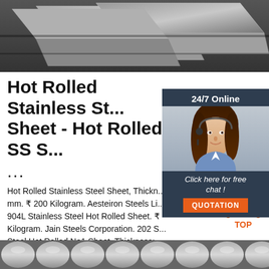[Figure (photo): Top portion showing stainless steel sheets/plates stacked, metallic gray color, partially cropped]
Hot Rolled Stainless St... Sheet - Hot Rolled SS S...
...
Hot Rolled Stainless Steel Sheet, Thickness: ... mm. ₹ 200 Kilogram. Aesteiron Steels Li... 904L Stainless Steel Hot Rolled Sheet. ₹ ... Kilogram. Jain Steels Corporation. 202 S... Steel Hot Rolled No1 Sheet, Thickness: ... mm. ₹ 104 Kilogram. Devdeep Steel Alloys.
[Figure (photo): Chat widget overlay with agent photo, 24/7 Online header, Click here for free chat text, and QUOTATION button]
[Figure (other): TOP scroll-to-top button with orange dots forming a triangle and TOP text in orange]
[Figure (photo): Bottom partial image showing steel rounds/bars, metallic, partially cropped at bottom of page]